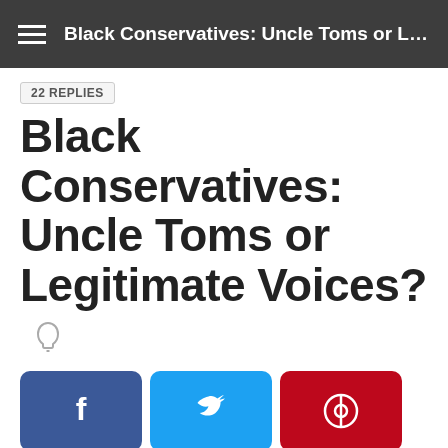Black Conservatives: Uncle Toms or Legi...
22 REPLIES
Black Conservatives: Uncle Toms or Legitimate Voices?
[Figure (infographic): Social share buttons: Facebook, Twitter, Pinterest, LinkedIn, Reddit, and a copy button]
Kevin41
*Personally I think they are.....or either selfish azz people who will sell out their own for personal gain...like the house slave who told about the plans